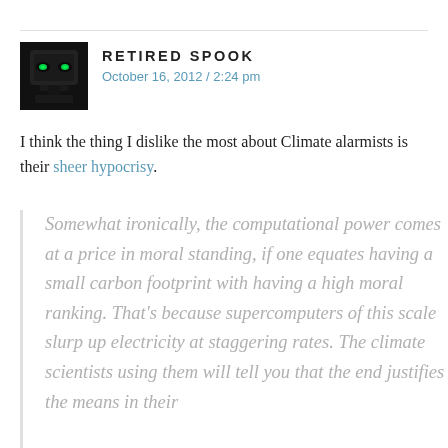[Figure (photo): Small avatar image of a dark-themed robot or masked figure with green glowing eyes against black background]
RETIRED SPOOK
October 16, 2012 / 2:24 pm
I think the thing I dislike the most about Climate alarmists is their sheer hypocrisy.
Somewhat ironically, the computational power comes at a price in moral standing, if one equates having a small carbon footprint with having a high moral ranking. That's because supercomputers of this scale slurp up electricity at staggering rates. The climate scientists using them will tell you that the end justifies the means in their